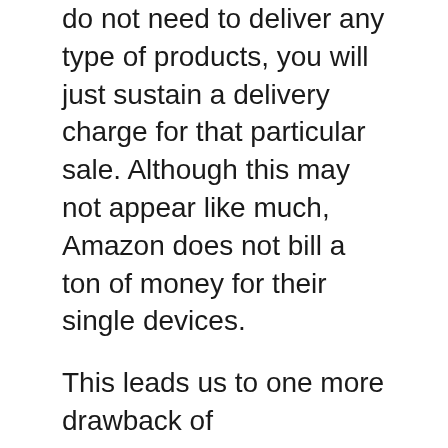do not need to deliver any type of products, you will just sustain a delivery charge for that particular sale. Although this may not appear like much, Amazon does not bill a ton of money for their single devices.
This leads us to one more drawback of dropshipping. When you dropship, you will certainly never have a real product in your possession. This implies you will be in charge of taking care of the stock. The dropshipper will deal with it. You are responsible for delivering the product, packaging and storing it. It will be up to you how you pack and also ship the items marketed.
In this instance, it is hard to see how Amazon and also eBay can be thought about